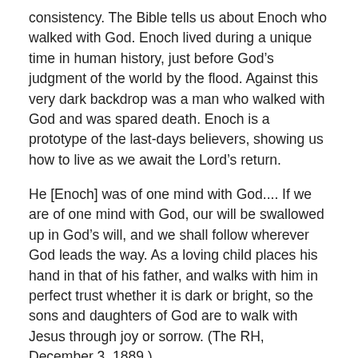consistency. The Bible tells us about Enoch who walked with God. Enoch lived during a unique time in human history, just before God's judgment of the world by the flood. Against this very dark backdrop was a man who walked with God and was spared death. Enoch is a prototype of the last-days believers, showing us how to live as we await the Lord's return.
He [Enoch] was of one mind with God.... If we are of one mind with God, our will be swallowed up in God's will, and we shall follow wherever God leads the way. As a loving child places his hand in that of his father, and walks with him in perfect trust whether it is dark or bright, so the sons and daughters of God are to walk with Jesus through joy or sorrow. (The RH, December 3, 1889.)
BAPTISMS. The Gospel of salvation leads people to a decision to accept Jesus Christ as their loving Savior. I am grateful to God that our Ooltewah church sees evangelism as a priority in our ministry. In March our emphasis was on preaching the Three